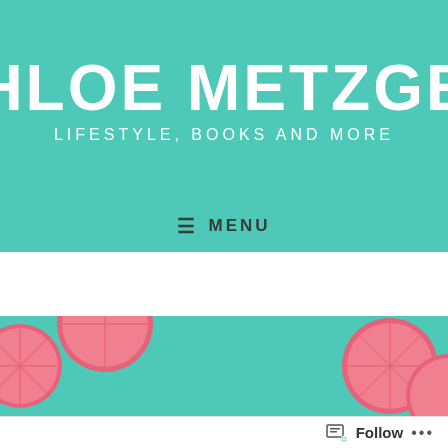CHLOE METZGER
LIFESTYLE, BOOKS AND MORE
≡ MENU
TAG: HYPERMOBILE EHLERS-DANLOS SYNDROME
[Figure (illustration): Blog post thumbnail with grapefruit slices on teal background and a white card overlay with handwritten-style text reading 'hEDS and Me']
Follow